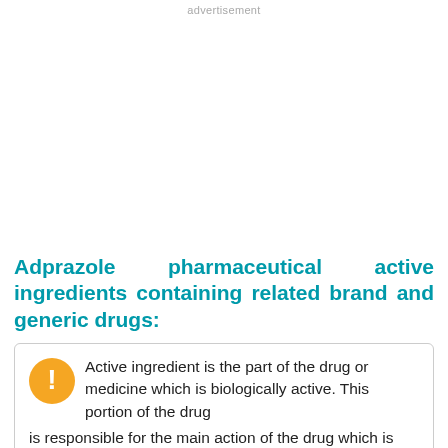advertisement
Adprazole pharmaceutical active ingredients containing related brand and generic drugs:
Active ingredient is the part of the drug or medicine which is biologically active. This portion of the drug is responsible for the main action of the drug which is intended to cure or reduce the symptom or disease. The